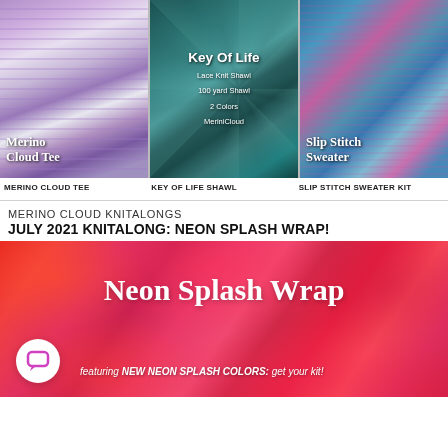[Figure (photo): Three product photos in a row: left - woman wearing purple knitted Merino Cloud Tee; center - teal Key Of Life shawl laid flat; right - woman wearing colorful Slip Stitch Sweater]
MERINO CLOUD TEE
KEY OF LIFE SHAWL
SLIP STITCH SWEATER KIT
MERINO CLOUD KNITALONGS
JULY 2021 KNITALONG: NEON SPLASH WRAP!
[Figure (photo): Banner image of neon pink and red yarn skeins with white text overlay reading 'Neon Splash Wrap' and subtext 'featuring NEW NEON SPLASH COLORS: get your kit!']